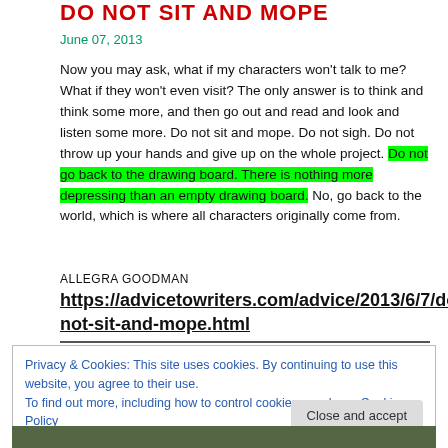DO NOT SIT AND MOPE
June 07, 2013
Now you may ask, what if my characters won't talk to me? What if they won't even visit? The only answer is to think and think some more, and then go out and read and look and listen some more. Do not sit and mope. Do not sigh. Do not throw up your hands and give up on the whole project. Do not go back to the drawing board. There is nothing more depressing than an empty drawing board. No, go back to the world, which is where all characters originally come from.
ALLEGRA GOODMAN
https://advicetowriters.com/advice/2013/6/7/do-not-sit-and-mope.html
Privacy & Cookies: This site uses cookies. By continuing to use this website, you agree to their use.
To find out more, including how to control cookies, see here: Cookie Policy
Close and accept